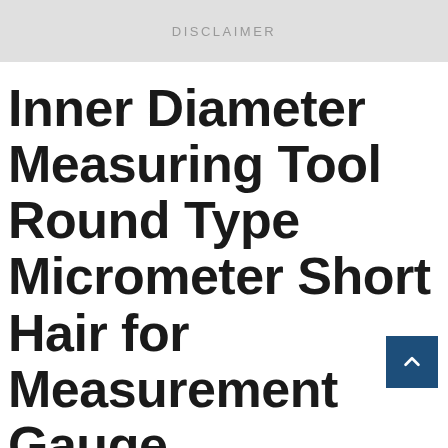DISCLAIMER
Inner Diameter Measuring Tool Round Type Micrometer Short Hair for Measurement Gauge Measurement Tool 0-13mm Inside Micrometer